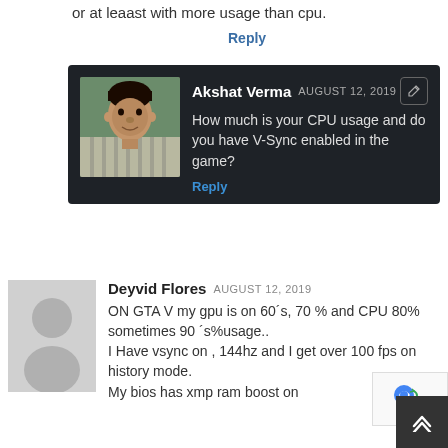or at leaast with more usage than cpu.
Reply
[Figure (photo): Comment block with dark background from user Akshat Verma dated August 12, 2019 with profile photo. Text: How much is your CPU usage and do you have V-Sync enabled in the game? Reply]
[Figure (photo): Comment block from user Deyvid Flores dated August 12, 2019 with placeholder avatar. Text: ON GTA V my gpu is on 60´s, 70 % and CPU 80% sometimes 90 ´s%usage.. I Have vsync on , 144hz and I get over 100 fps on history mode. My bios has xmp ram boost on]